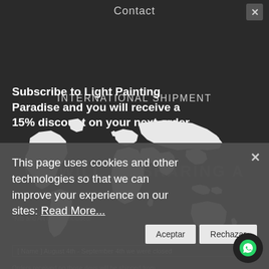Contact
Subscribe to Light Painting Paradise and you will receive a 15% discount on your next order.
[Figure (other): Overlapping UI layers: INTERNATIONAL SHIPMENT text overlay with world map silhouette in white on dark background, with 'WE WILL BE SHARING A' text partially visible]
*Kits and Art are not included!
[ Name ] August 4th - September 4th we were closed
[ Write your... ] for a few days.
Orders received on those days will be shipped from September 4th in
E-mail* order of arrival.
We apologize for the inconvenience.
This page uses cookies and other technologies so that we can improve your experience on our sites: Read More...
Aceptar
Rechazar